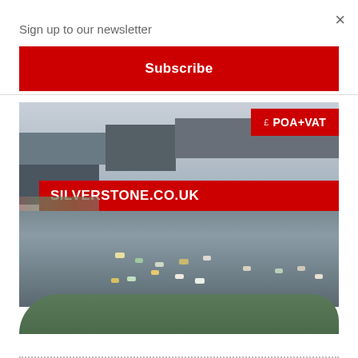×
Sign up to our newsletter
Subscribe
[Figure (photo): Racing cars at the start of a race at Silverstone circuit, with the Silverstone.co.uk banner visible on the pit straight and grandstands in the background. A red price badge showing '£ POA+VAT' is overlaid in the top right.]
£ POA+VAT